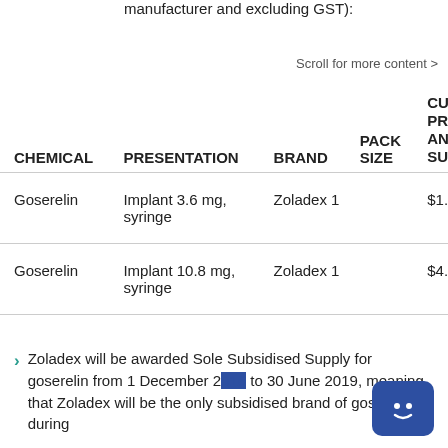manufacturer and excluding GST):
Scroll for more content >
| CHEMICAL | PRESENTATION | BRAND | PACK SIZE | CU PR... AN... SU... |
| --- | --- | --- | --- | --- |
| Goserelin | Implant 3.6 mg, syringe | Zoladex 1 | $1... |
| Goserelin | Implant 10.8 mg, syringe | Zoladex 1 | $4... |
Zoladex will be awarded Sole Subsidised Supply for goserelin from 1 December 2... to 30 June 2019, meaning that Zoladex will be the only subsidised brand of goserelin during